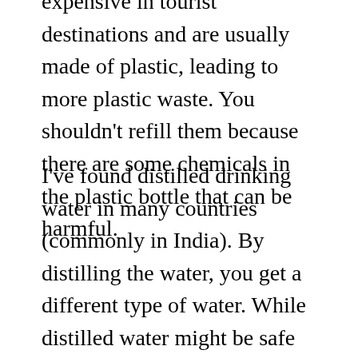expensive in tourist destinations and are usually made of plastic, leading to more plastic waste. You shouldn't refill them because there are some chemicals in the plastic bottle that can be harmful.
I've found distilled drinking water in many countries (commonly in India). By distilling the water, you get a different type of water. While distilled water might be safe to drink, it has a flat taste and doesn't provide as many minerals as filtered tap water or bottled mineral water. According to some experts, drinking distilled water from time to time might be beneficial for